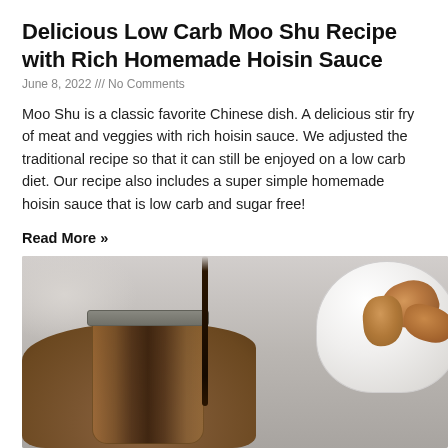Delicious Low Carb Moo Shu Recipe with Rich Homemade Hoisin Sauce
June 8, 2022 /// No Comments
Moo Shu is a classic favorite Chinese dish. A delicious stir fry of meat and veggies with rich hoisin sauce. We adjusted the traditional recipe so that it can still be enjoyed on a low carb diet. Our recipe also includes a super simple homemade hoisin sauce that is low carb and sugar free!
Read More »
[Figure (photo): A glass jar filled with dark brown hoisin sauce with sauce dripping from above, placed on a wooden board, next to a white bowl containing food items, on a marble surface.]